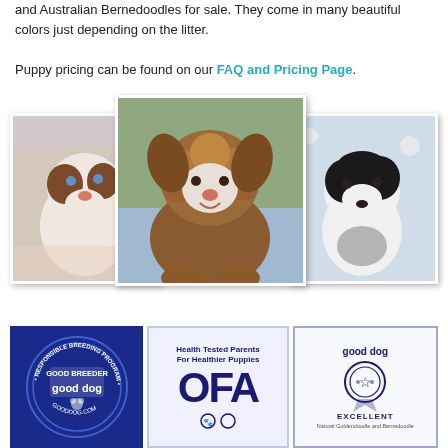and Australian Bernedoodles for sale. They come in many beautiful colors just depending on the litter.
Puppy pricing can be found on our FAQ and Pricing Page.
[Figure (photo): Three overlapping photos of Bernedoodle puppies: left shows a small brown and white puppy being held, center shows a larger fluffy brown and white doodle dog, right shows a black and white puppy.]
[Figure (logo): Three badges/logos: Good Dog Responsible Breeding Program circular blue seal, Health Tested Parents For Healthier Puppies OFA logo, and Good Dog Excellent certification badge.]